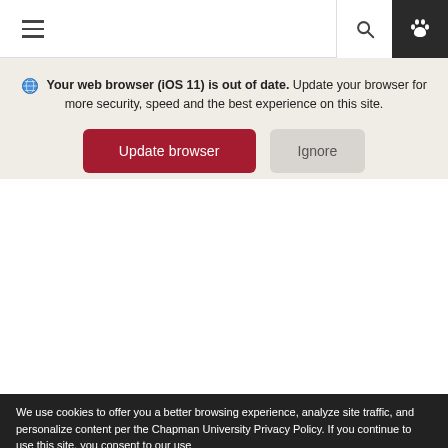[Figure (screenshot): Navigation bar with hamburger menu icon on the left, search icon in the middle-right, and paw icon on dark background on the far right]
Your web browser (iOS 11) is out of date. Update your browser for more security, speed and the best experience on this site.
[Figure (screenshot): Two buttons: 'Update browser' in dark red and 'Ignore' in light gray]
[Figure (photo): Image slider showing dark red/maroon image panels with left and right navigation arrows]
We use cookies to offer you a better browsing experience, analyze site traffic, and personalize content per the Chapman University Privacy Policy. If you continue to use this site, you consent to our use